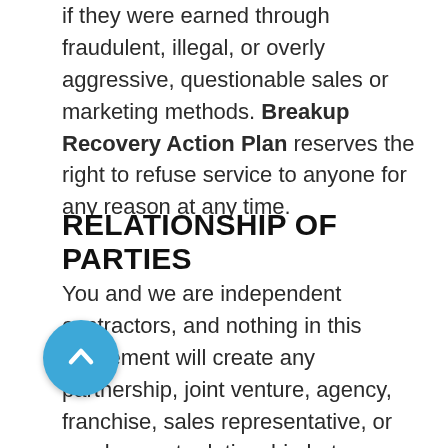if they were earned through fraudulent, illegal, or overly aggressive, questionable sales or marketing methods. Breakup Recovery Action Plan reserves the right to refuse service to anyone for any reason at any time.
RELATIONSHIP OF PARTIES
You and we are independent contractors, and nothing in this Agreement will create any partnership, joint venture, agency, franchise, sales representative, or employment relationship between the parties. You will have no authority to make or accept any offers or representations on our behalf. You will not make any statement, whether on your site or otherwise, that reasonably would contradict